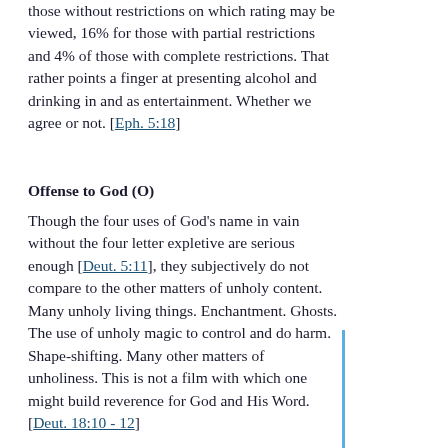those without restrictions on which rating may be viewed, 16% for those with partial restrictions and 4% of those with complete restrictions. That rather points a finger at presenting alcohol and drinking in and as entertainment. Whether we agree or not. [Eph. 5:18]
Offense to God (O)
Though the four uses of God's name in vain without the four letter expletive are serious enough [Deut. 5:11], they subjectively do not compare to the other matters of unholy content. Many unholy living things. Enchantment. Ghosts. The use of unholy magic to control and do harm. Shape-shifting. Many other matters of unholiness. This is not a film with which one might build reverence for God and His Word. [Deut. 18:10 - 12]